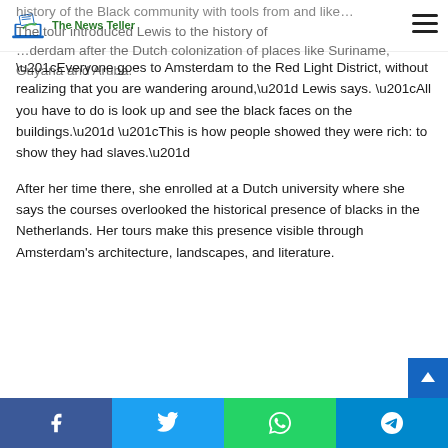The News Teller
history of the Black community with tools from and like …derdam after the Dutch colonization of places like Suriname, Guyana and Aruba.
“Everyone goes to Amsterdam to the Red Light District, without realizing that you are wandering around,” Lewis says. “All you have to do is look up and see the black faces on the buildings.” “This is how people showed they were rich: to show they had slaves.”
After her time there, she enrolled at a Dutch university where she says the courses overlooked the historical presence of blacks in the Netherlands. Her tours make this presence visible through Amsterdam's architecture, landscapes, and literature.
Facebook | Twitter | WhatsApp | Telegram